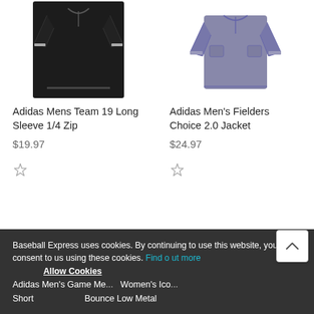[Figure (photo): Black Adidas Mens Team 19 Long Sleeve 1/4 Zip shirt on white background]
Adidas Mens Team 19 Long Sleeve 1/4 Zip
$19.97
[Figure (photo): Gray/purple Adidas Men's Fielders Choice 2.0 Jacket on white background]
Adidas Men's Fielders Choice 2.0 Jacket
$24.97
Baseball Express uses cookies. By continuing to use this website, you consent to us using these cookies. Find out more
Allow Cookies
Adidas Men's Game Me... Women's Icon...
Short Bounce Low Metal